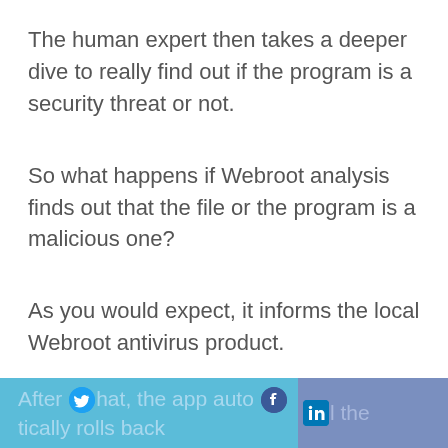The human expert then takes a deeper dive to really find out if the program is a security threat or not.
So what happens if Webroot analysis finds out that the file or the program is a malicious one?
As you would expect, it informs the local Webroot antivirus product.
The antivirus product then moves quickly to kill the unknown program and/or process.
After that, the app automatically rolls back all the